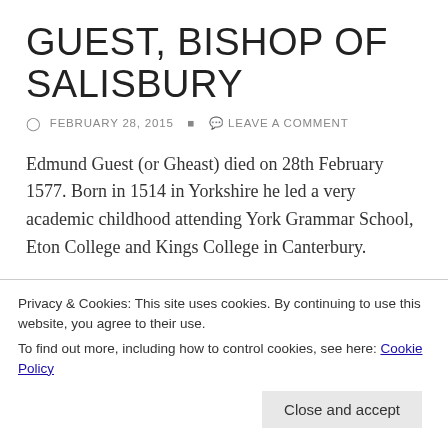GUEST, BISHOP OF SALISBURY
FEBRUARY 28, 2015   LEAVE A COMMENT
Edmund Guest (or Gheast) died on 28th February 1577. Born in 1514 in Yorkshire he led a very academic childhood attending York Grammar School, Eton College and Kings College in Canterbury.
Whilst in Canterbury Guest became chaplain to Archbishop Matthew Parker who went on to make Guest Archdeacon of Canterbury and Rector of Cliffe, Kent. In 1560 Guest was [obscured by cookie banner]
Privacy & Cookies: This site uses cookies. By continuing to use this website, you agree to their use.
To find out more, including how to control cookies, see here: Cookie Policy
Close and accept